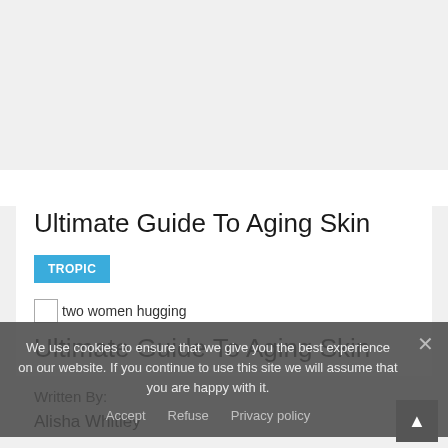[Figure (other): Gray top area representing advertisement or empty space]
Ultimate Guide To Aging Skin
TROPIC
[Figure (other): two women hugging - image placeholder with alt text]
Ultimate Guide To Aging Skin
We use cookies to ensure that we give you the best experience on our website. If you continue to use this site we will assume that you are happy with it.
Accept   Refuse   Privacy policy
Written By:
Alisha Whitley